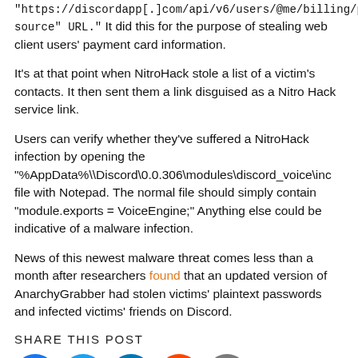“https://discordapp[.]com/api/v6/users/@me/billing/payment-source” URL.” It did this for the purpose of stealing web client users’ payment card information.
It’s at that point when NitroHack stole a list of a victim’s contacts. It then sent them a link disguised as a Nitro Hack service link.
Users can verify whether they’ve suffered a NitroHack infection by opening the “%AppData%\\Discord\0.0.306\modules\discord_voice\inc file with Notepad. The normal file should simply contain “module.exports = VoiceEngine;” Anything else could be indicative of a malware infection.
News of this newest malware threat comes less than a month after researchers found that an updated version of AnarchyGrabber had stolen victims’ plaintext passwords and infected victims’ friends on Discord.
SHARE THIS POST
[Figure (illustration): Row of social media share icons: Facebook (blue), Twitter (light blue), LinkedIn (dark blue), Reddit (orange), Email (grey)]